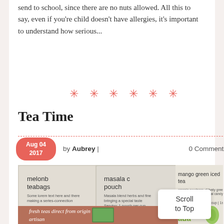send to school, since there are no nuts allowed. All this to say, even if you're child doesn't have allergies, it's important to understand how serious...
* * * * * *
Tea Time
Aug 04 2017 | by Aubrey | 0 Comments
[Figure (photo): Three tea product bags: melonb teabags, masala c pouch, mango green iced tea, with branding text 'fresh teas direct from origin, artisan black teas' visible on lower bag. ada- brand visible on right side.]
Scroll to Top